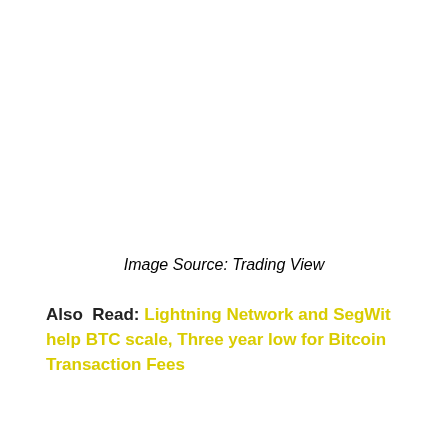Image Source: Trading View
Also Read: Lightning Network and SegWit help BTC scale, Three year low for Bitcoin Transaction Fees
“ANOTHER DAY, ANOTHER LACKLUSTRE MOVE. IS THIS THE TOP? I’M LOOKING FOR $180B IF WE CAN TURN $140B INTO SUPPORT, OTHERWISE NOT MUCH